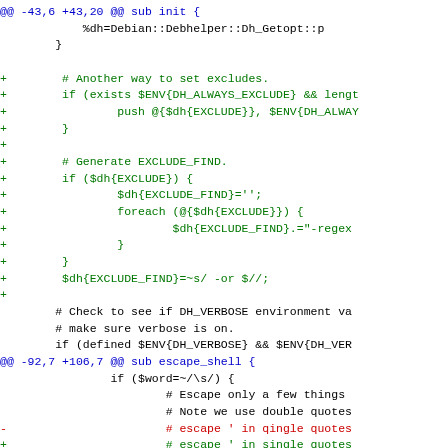[Figure (screenshot): A unified diff / code patch view showing changes to Perl code, with blue hunk headers, green added lines (+), red removed lines (-), and black context lines. The code involves Debian::Debhelper::Dh_Getopt, EXCLUDE handling, EXCLUDE_FIND generation, DH_VERBOSE and DH_VERBOSE environment variable checks, and an escape_shell subroutine.]